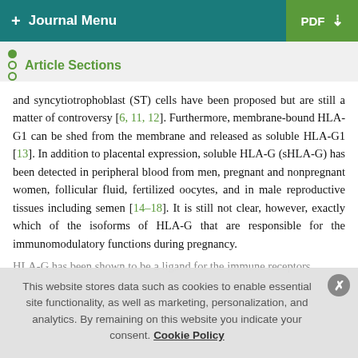+ Journal Menu   PDF ↓
Article Sections
and syncytiotrophoblast (ST) cells have been proposed but are still a matter of controversy [6, 11, 12]. Furthermore, membrane-bound HLA-G1 can be shed from the membrane and released as soluble HLA-G1 [13]. In addition to placental expression, soluble HLA-G (sHLA-G) has been detected in peripheral blood from men, pregnant and nonpregnant women, follicular fluid, fertilized oocytes, and in male reproductive tissues including semen [14–18]. It is still not clear, however, exactly which of the isoforms of HLA-G that are responsible for the immunomodulatory functions during pregnancy.
HLA-G has been shown to be a ligand for the immune receptors...
This website stores data such as cookies to enable essential site functionality, as well as marketing, personalization, and analytics. By remaining on this website you indicate your consent. Cookie Policy